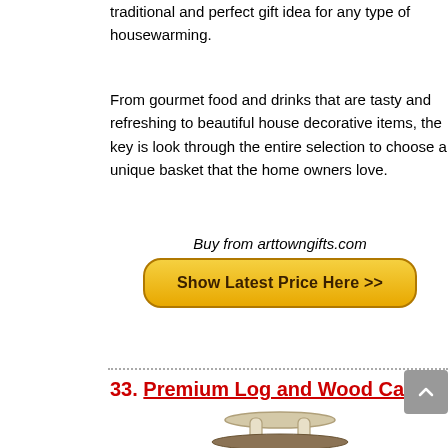traditional and perfect gift idea for any type of housewarming.
From gourmet food and drinks that are tasty and refreshing to beautiful house decorative items, the key is look through the entire selection to choose a unique basket that the home owners love.
Buy from arttowngifts.com
[Figure (other): Yellow rounded button labeled 'Show Latest Price Here >>']
33. Premium Log and Wood Carrier
[Figure (photo): Product photo of a log and wood carrier bag with handles, shown from above, partially visible at bottom of page.]